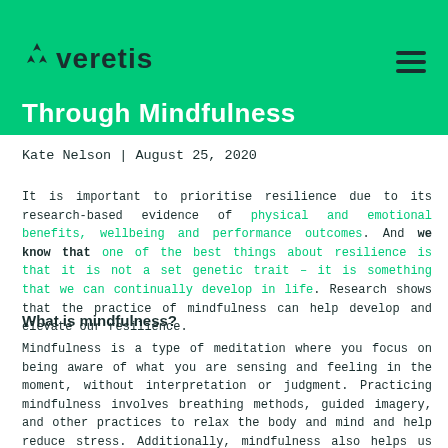veretis
Through Mindfulness
Kate Nelson | August 25, 2020
It is important to prioritise resilience due to its research-based evidence of physical and emotional benefits, wellbeing and performance outcomes. And we know that one of the best things about resilience is that it is not a set genetic trait – it is something that we can continually develop in life. Research shows that the practice of mindfulness can help develop and elevate our resilience.
What is mindfulness?
Mindfulness is a type of meditation where you focus on being aware of what you are sensing and feeling in the moment, without interpretation or judgment. Practicing mindfulness involves breathing methods, guided imagery, and other practices to relax the body and mind and help reduce stress. Additionally, mindfulness also helps us to self-regulate our attention, and develop an attitude of curiosity, openness, and acceptance toward the present moment.